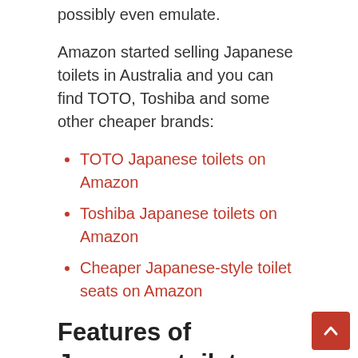possibly even emulate.
Amazon started selling Japanese toilets in Australia and you can find TOTO, Toshiba and some other cheaper brands:
TOTO Japanese toilets on Amazon
Toshiba Japanese toilets on Amazon
Cheaper Japanese-style toilet seats on Amazon
Features of Japanese toilets
Electronic toilets are found in around three quarters of all Japanese households. These systems are astoundingly advanced, and something a novice might find extremely